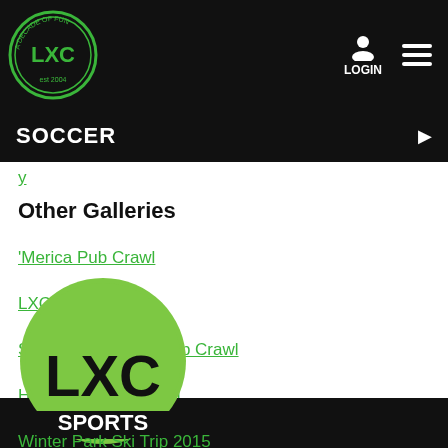LXC Sports logo and navigation header with LOGIN and menu
SOCCER
y (partial green link)
Other Galleries
'Merica Pub Crawl
LXC Champions
Santa's Christmas Pub Crawl
Halloween Pub Crawl
Winter Park Ski Trip 2015
[Figure (logo): LXC Sports circular logo with green background, black LXC lettering, and SPORTS text at bottom]